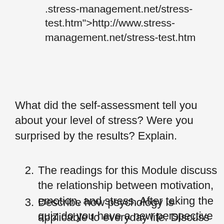.stress-management.net/stress-test.htm">http://www.stress-management.net/stress-test.htm
What did the self-assessment tell you about your level of stress? Were you surprised by the results? Explain.
2. The readings for this Module discuss the relationship between motivation, emotion, and stress. After taking the quiz do you have a new perspective on this dynamic? Describe some times that your motivation and emotion have been affected by stressors in your life.
3. Describe how psychology is applicable to everyday life. Discuss topics such as relationships with others, work, school, etc.